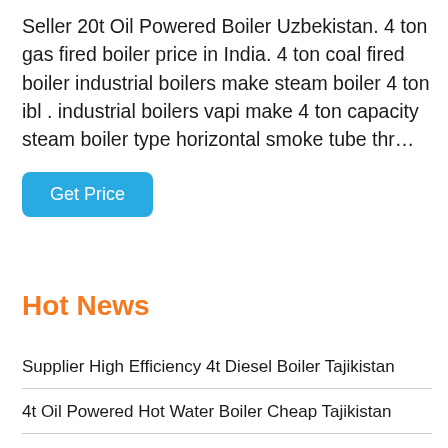Seller 20t Oil Powered Boiler Uzbekistan. 4 ton gas fired boiler price in India. 4 ton coal fired boiler industrial boilers make steam boiler 4 ton ibl . industrial boilers vapi make 4 ton capacity steam boiler type horizontal smoke tube thr…
[Figure (other): A blue rounded button labeled 'Get Price']
Hot News
Supplier High Efficiency 4t Diesel Boiler Tajikistan
4t Oil Powered Hot Water Boiler Cheap Tajikistan
Boiler Brand Industrial 4 Ton For Sale Georgia
Agent Commercial 8t Coal Boiler Plant Latvia